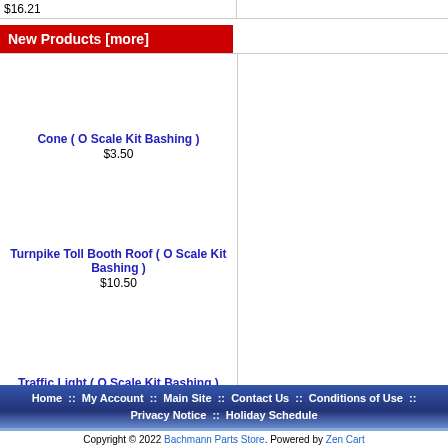$16.21
New Products  [more]
Cone ( O Scale Kit Bashing )
$3.50
Turnpike Toll Booth Roof ( O Scale Kit Bashing )
$10.50
Traffic Light ( O Scale Kit Bashing )
$3.50
Turnpike Sign ( O Scale Kit Bashing )
$5.50
Home :: My Account :: Main Site :: Contact Us :: Conditions of Use :: Privacy Notice :: Holiday Schedule
Copyright © 2022 Bachmann Parts Store. Powered by Zen Cart